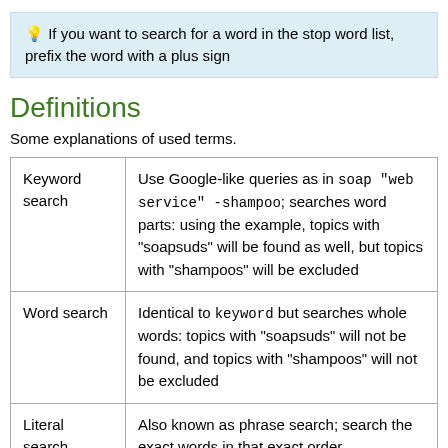💡 If you want to search for a word in the stop word list, prefix the word with a plus sign
Definitions
Some explanations of used terms.
|  |  |
| --- | --- |
| Keyword search | Use Google-like queries as in soap "web service" -shampoo; searches word parts: using the example, topics with "soapsuds" will be found as well, but topics with "shampoos" will be excluded |
| Word search | Identical to keyword but searches whole words: topics with "soapsuds" will not be found, and topics with "shampoos" will not be excluded |
| Literal search | Also known as phrase search; search the exact words in that exact order |